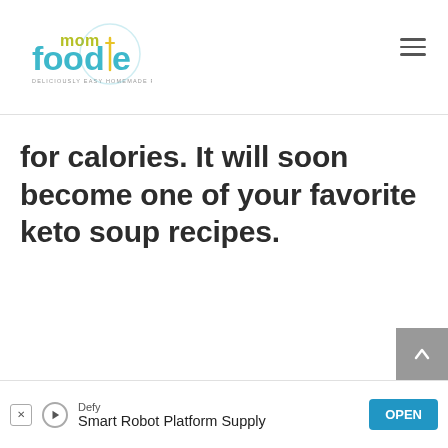mom foodie – DELICIOUSLY EASY HOMEMADE RECIPES
for calories. It will soon become one of your favorite keto soup recipes.
[Figure (other): Scroll-to-top button with upward arrow on grey background]
[Figure (other): Advertisement banner: Defy – Smart Robot Platform Supply with OPEN button]